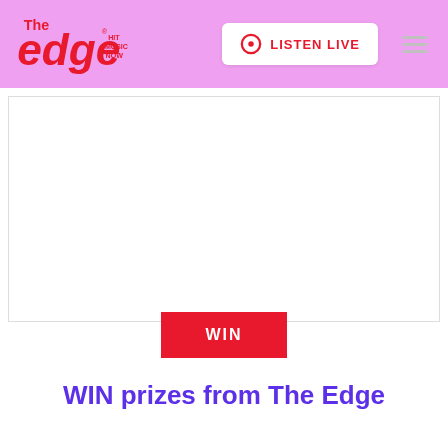The Edge – Hit Music Now | LISTEN LIVE
[Figure (photo): Blank white rectangular image area with a thin border, representing a promotional image placeholder]
WIN
WIN prizes from The Edge